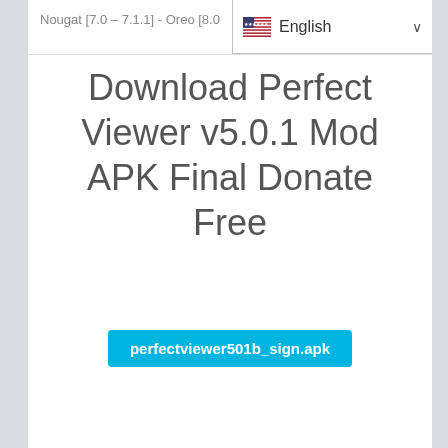Nougat [7.0 – 7.1.1] - Oreo [8.0…
Download Perfect Viewer v5.0.1 Mod APK Final Donate Free
perfectviewer501b_sign.apk